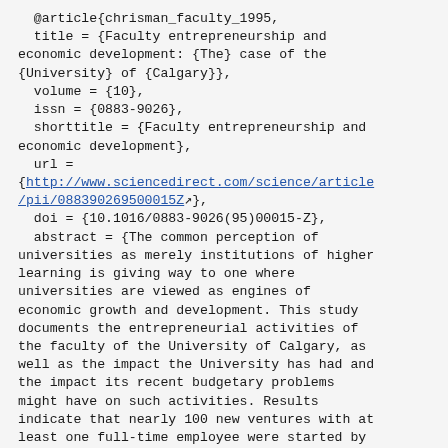@article{chrisman_faculty_1995,
  title = {Faculty entrepreneurship and economic development: {The} case of the {University} of {Calgary}},
  volume = {10},
  issn = {0883-9026},
  shorttitle = {Faculty entrepreneurship and economic development},
  url = {http://www.sciencedirect.com/science/article/pii/088390269500015Z},
  doi = {10.1016/0883-9026(95)00015-Z},
  abstract = {The common perception of universities as merely institutions of higher learning is giving way to one where universities are viewed as engines of economic growth and development. This study documents the entrepreneurial activities of the faculty of the University of Calgary, as well as the impact the University has had and the impact its recent budgetary problems might have on such activities. Results indicate that nearly 100 new ventures with at least one full-time employee were started by faculty or were started as a consequence of